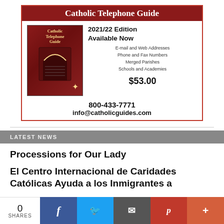[Figure (infographic): Advertisement for Catholic Telephone Guide 2021/22 Edition, showing book cover, features list, price $53.00, phone 800-433-7771, email info@catholicguides.com]
LATEST NEWS
Processions for Our Lady
El Centro Internacional de Caridades Católicas Ayuda a los Inmigrantes a